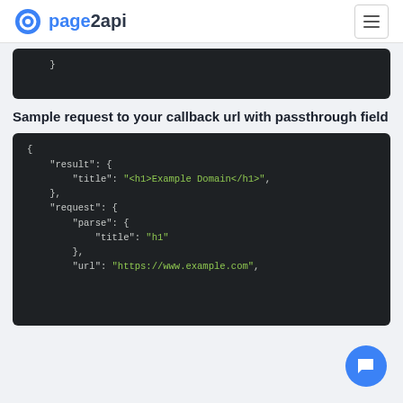page2api
[Figure (screenshot): Code block showing closing brace of JSON on dark background]
Sample request to your callback url with passthrough field
[Figure (screenshot): Code block showing JSON: { "result": { "title": "<h1>Example Domain</h1>", }, "request": { "parse": { "title": "h1" }, }, "url": "https://www.example.com", }]